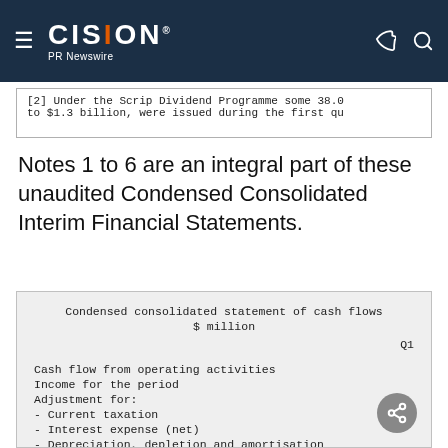CISION PR Newswire
[2] Under the Scrip Dividend Programme some 38.0 to $1.3 billion, were issued during the first qu
Notes 1 to 6 are an integral part of these unaudited Condensed Consolidated Interim Financial Statements.
| Condensed consolidated statement of cash flows $ million | Q1 |
| --- | --- |
| Cash flow from operating activities |  |
| Income for the period |  |
| Adjustment for: |  |
| - Current taxation |  |
| - Interest expense (net) |  |
| - Depreciation, depletion and amortisation |  |